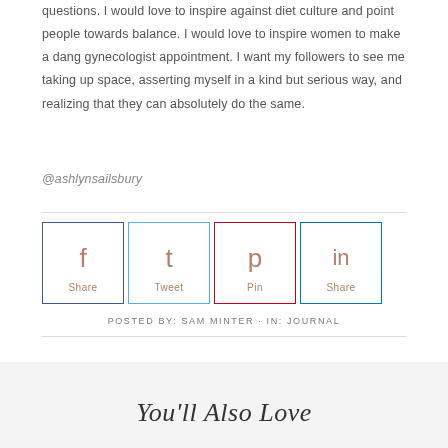questions. I would love to inspire against diet culture and point people towards balance. I would love to inspire women to make a dang gynecologist appointment. I want my followers to see me taking up space, asserting myself in a kind but serious way, and realizing that they can absolutely do the same.
@ashlynsailsbury
Share  Tweet  Pin  Share
POSTED BY: SAM MINTER · IN: JOURNAL
You'll Also Love